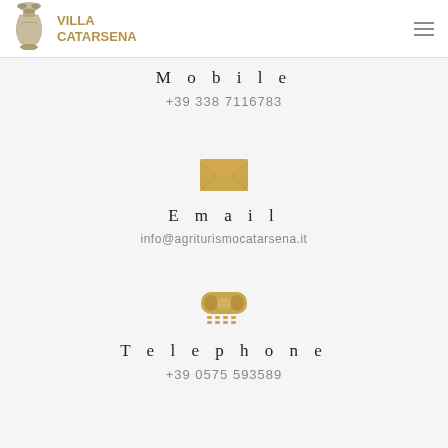Villa Catarsena
Mobile
+39 338 7116783
[Figure (illustration): Golden envelope/email icon]
Email
info@agriturismocatarsena.it
[Figure (illustration): Golden telephone/TTY icon]
Telephone
+39 0575 593589